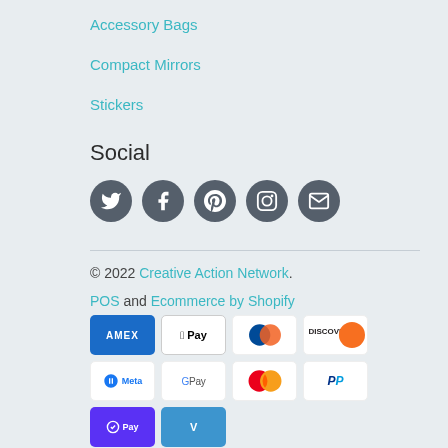Accessory Bags
Compact Mirrors
Stickers
Social
[Figure (infographic): Row of 5 dark circular social media icons: Twitter, Facebook, Pinterest, Instagram, Email]
© 2022 Creative Action Network. POS and Ecommerce by Shopify
[Figure (infographic): Payment method icons: American Express, Apple Pay, Diners Club, Discover, Meta Pay, Google Pay, Mastercard, PayPal, Shop Pay, Venmo, Visa]